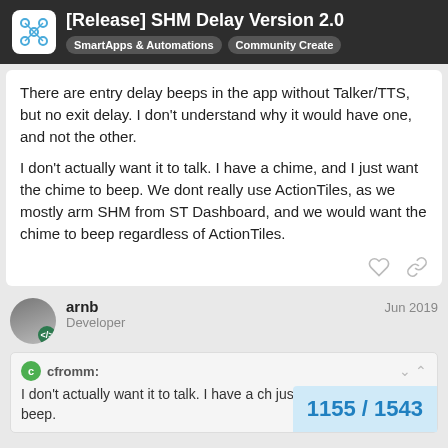[Release] SHM Delay Version 2.0 | SmartApps & Automations | Community Created
There are entry delay beeps in the app without Talker/TTS, but no exit delay. I don't understand why it would have one, and not the other.

I don't actually want it to talk. I have a chime, and I just want the chime to beep. We dont really use ActionTiles, as we mostly arm SHM from ST Dashboard, and we would want the chime to beep regardless of ActionTiles.
arnb  Jun 2019
Developer
cfromm:
I don't actually want it to talk. I have a ch just want the chime to beep.
1155 / 1543